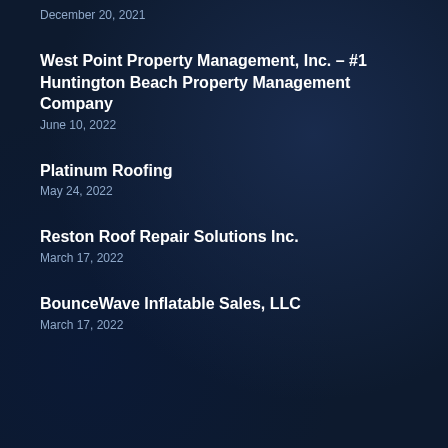December 20, 2021
West Point Property Management, Inc. – #1 Huntington Beach Property Management Company
June 10, 2022
Platinum Roofing
May 24, 2022
Reston Roof Repair Solutions Inc.
March 17, 2022
BounceWave Inflatable Sales, LLC
March 17, 2022